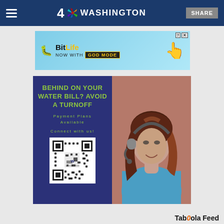NBC4 Washington — SHARE
[Figure (screenshot): BitLife advertisement banner: NOW WITH GOD MODE]
[Figure (infographic): Water utility advertisement: BEHIND ON YOUR WATER BILL? AVOID A TURNOFF. Payment Plans Available. Connect with us! QR code shown. Woman with headset on right side.]
Taboola Feed